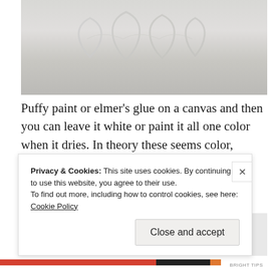[Figure (photo): Close-up of a white canvas with raised decorative swirl/teardrop shapes made from puffy paint or elmer's glue, all white on white texture]
Puffy paint or elmer’s glue on a canvas and then you can leave it white or paint it all one color when it dries. In theory these seems color, though I’m slightly afraid it would just be one big mess. Never hurts to try.
[Figure (photo): Partial view of a craft/art supplies photo with beige background on left and a tray with small items/stamps on right]
Privacy & Cookies: This site uses cookies. By continuing to use this website, you agree to their use.
To find out more, including how to control cookies, see here: Cookie Policy
Close and accept